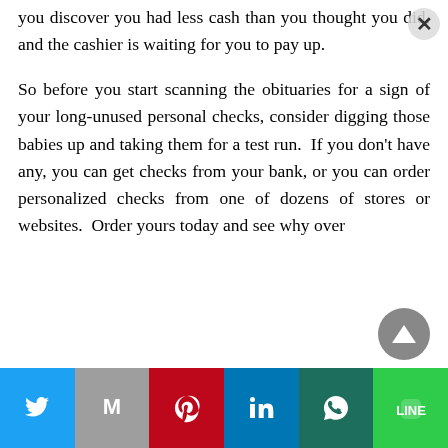you discover you had less cash than you thought you did, and the cashier is waiting for you to pay up.

So before you start scanning the obituaries for a sign of your long-unused personal checks, consider digging those babies up and taking them for a test run.  If you don't have any, you can get checks from your bank, or you can order personalized checks from one of dozens of stores or websites.  Order yours today and see why over